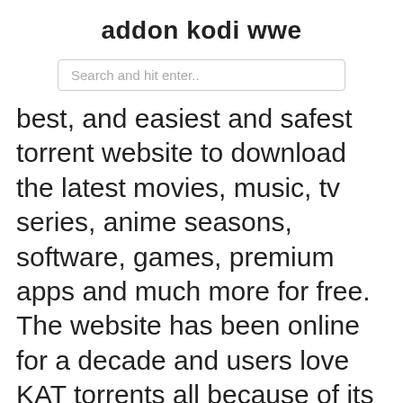addon kodi wwe
Search and hit enter..
best, and easiest and safest torrent website to download the latest movies, music, tv series, anime seasons, software, games, premium apps and much more for free. The website has been online for a decade and users love KAT torrents all because of its simple interface, fresh and high-quality torrents. However, lately, […]
New Kickass Torrent Domain and Proxies Katcr.co's team has now launched a new torrent website that looks identical to the original Kickass site. It hosts a good number of torrent files and magnet links for movie torrents, TV shows, software,